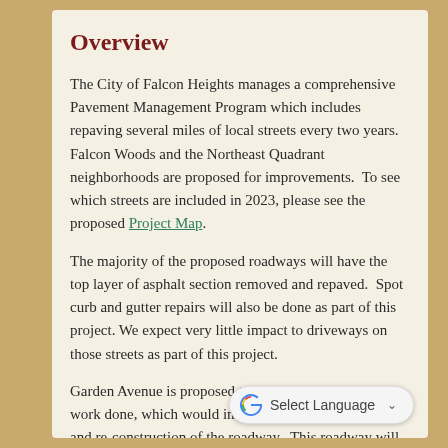Overview
The City of Falcon Heights manages a comprehensive Pavement Management Program which includes repaving several miles of local streets every two years.  Falcon Woods and the Northeast Quadrant neighborhoods are proposed for improvements.  To see which streets are included in 2023, please see the proposed Project Map.
The majority of the proposed roadways will have the top layer of asphalt section removed and repaved.  Spot curb and gutter repairs will also be done as part of this project.  We expect very little impact to driveways on those streets as part of this project.
Garden Avenue is proposed to have more intensive work done, which would involve removal of all asphalt and re-construction of the roadway.  This roadway will also be evaluated for changes to the lane width and possible addition of a pathway.  Frequently asked questions for the project are expected to be available in the